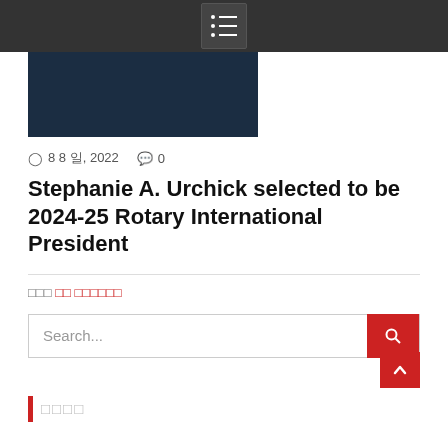Navigation menu bar
[Figure (photo): Dark navy blue photo, partially cropped at top, appears to be a person in dark clothing]
8 8 일, 2022   0
Stephanie A. Urchick selected to be 2024-25 Rotary International President
관련 포스트 링크텍스트
Search...
최근